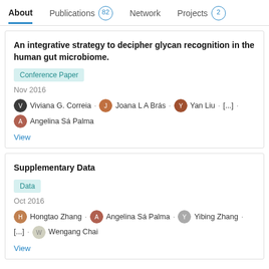About | Publications 82 | Network | Projects 2
An integrative strategy to decipher glycan recognition in the human gut microbiome.
Conference Paper
Nov 2016
Viviana G. Correia · Joana L A Brás · Yan Liu · [...] · Angelina Sá Palma
View
Supplementary Data
Data
Oct 2016
Hongtao Zhang · Angelina Sá Palma · Yibing Zhang · [...] · Wengang Chai
View